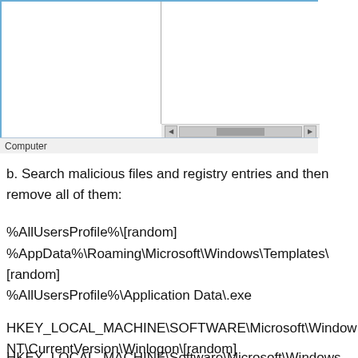[Figure (screenshot): Windows registry editor or file explorer screenshot showing a two-pane layout with a horizontal scrollbar and a status bar reading 'Computer' at the bottom.]
b. Search malicious files and registry entries and then remove all of them:
%AllUsersProfile%\[random]
%AppData%\Roaming\Microsoft\Windows\Templates\[random]
%AllUsersProfile%\Application Data\.exe
HKEY_LOCAL_MACHINE\SOFTWARE\Microsoft\Windows NT\CurrentVersion\Winlogon\[random]
HKEY_LOCAL_MACHINE\Software\Microsoft\Windows